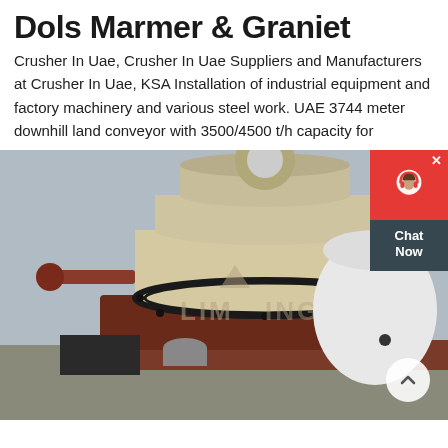Dols Marmer & Graniet
Crusher In Uae, Crusher In Uae Suppliers and Manufacturers at Crusher In Uae, KSA Installation of industrial equipment and factory machinery and various steel work. UAE 3744 meter downhill land conveyor with 3500/4500 t/h capacity for
[Figure (photo): Industrial cone crusher machine (white/cream colored) branded LIMING, shown in a factory or warehouse setting with structural steel beams. A large white cylindrical component is visible on the right side. The machine has a multi-stage conical body with dark belt/chain drives.]